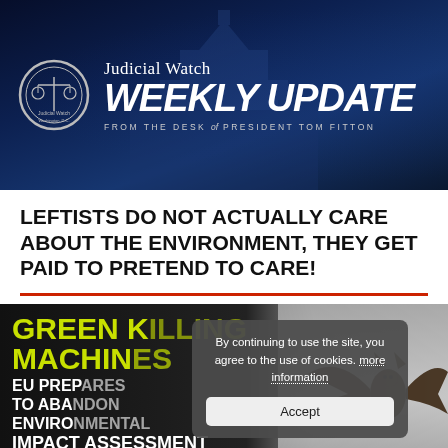[Figure (logo): Judicial Watch Weekly Update banner with US Capitol building background, Judicial Watch seal on left, text 'Judicial Watch WEEKLY UPDATE FROM THE DESK of PRESIDENT TOM FITTON' on dark blue background]
LEFTISTS DO NOT ACTUALLY CARE ABOUT THE ENVIRONMENT, THEY GET PAID TO PRETEND TO CARE!
[Figure (photo): Green Killing Machine article image showing text 'GREEN KILLING MACHINE / EU PREPARES TO ABANDON ENVIRONMENTAL IMPACT ASSESSMENT FOR RENEWABLES' in yellow/white on dark background, with cookie consent overlay and bat photo on right side. Cookie overlay says 'By continuing to use the site, you agree to the use of cookies. more information' with Accept button.]